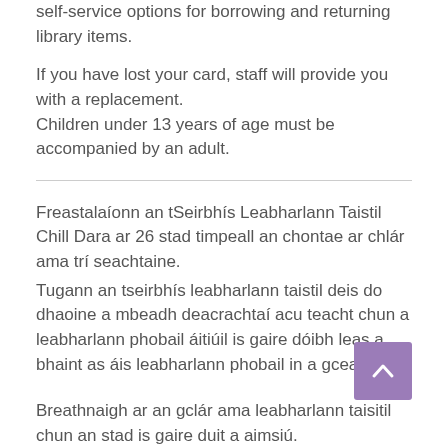self-service options for borrowing and returning library items.
If you have lost your card, staff will provide you with a replacement.
Children under 13 years of age must be accompanied by an adult.
Freastalaíonn an tSeirbhís Leabharlann Taistil Chill Dara ar 26 stad timpeall an chontae ar chlár ama trí seachtaine.
Tugann an tseirbhís leabharlann taistil deis do dhaoine a mbeadh deacrachtaí acu teacht chun a leabharlann phobail áitiúil is gaire dóibh leas a bhaint as áis leabharlann phobail in a gceantar.
Breathnaigh ar an gclár ama leabharlann taisitil chun an stad is gaire duit a aimsiú.